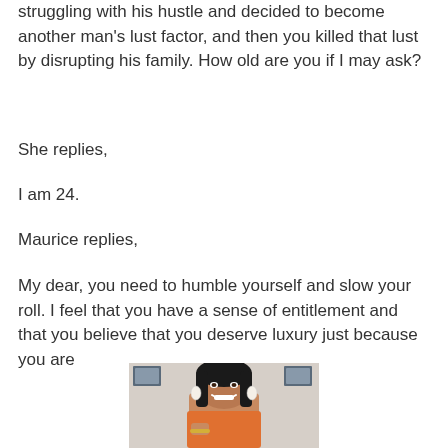struggling with his hustle and decided to become another man's lust factor, and then you killed that lust by disrupting his family. How old are you if I may ask?
She replies,
I am 24.
Maurice replies,
My dear, you need to humble yourself and slow your roll. I feel that you have a sense of entitlement and that you believe that you deserve luxury just because you are
[Figure (photo): A smiling young Black woman with long straight dark hair, wearing hoop earrings and a bracelet, photographed indoors with framed pictures visible in the background.]